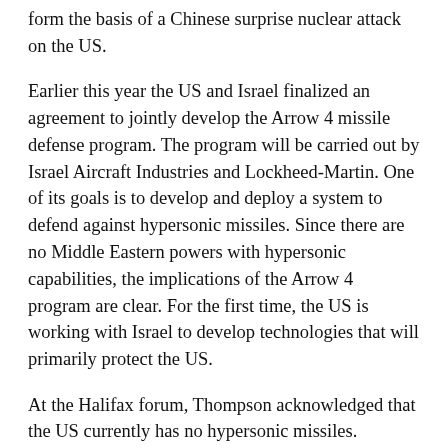form the basis of a Chinese surprise nuclear attack on the US.
Earlier this year the US and Israel finalized an agreement to jointly develop the Arrow 4 missile defense program. The program will be carried out by Israel Aircraft Industries and Lockheed-Martin. One of its goals is to develop and deploy a system to defend against hypersonic missiles. Since there are no Middle Eastern powers with hypersonic capabilities, the implications of the Arrow 4 program are clear. For the first time, the US is working with Israel to develop technologies that will primarily protect the US.
At the Halifax forum, Thompson acknowledged that the US currently has no hypersonic missiles. Although the Army, Navy and Air Force are all developing hypersonic systems, he admitted that it will take years for the US to achieve the capabilities Russia and China already have. In other words, over the next several years, Russia and China will enjoy a strategic advantage over the US the likes of which they've never seen. Their hypersonic missiles, combined with their anti-satellite capabilities and their seriousness of intent render